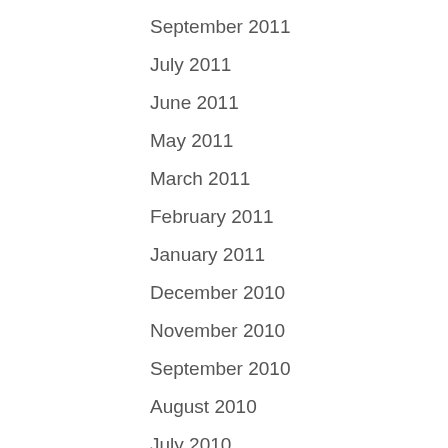September 2011
July 2011
June 2011
May 2011
March 2011
February 2011
January 2011
December 2010
November 2010
September 2010
August 2010
July 2010